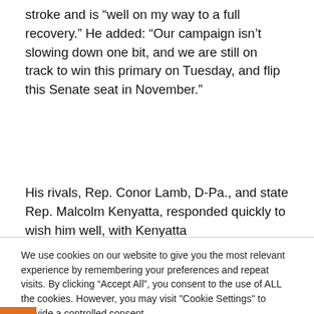stroke and is “well on my way to a full recovery.” He added: “Our campaign isn’t slowing down one bit, and we are still on track to win this primary on Tuesday, and flip this Senate seat in November.”
His rivals, Rep. Conor Lamb, D-Pa., and state Rep. Malcolm Kenyatta, responded quickly to wish him well, with Kenyatta
We use cookies on our website to give you the most relevant experience by remembering your preferences and repeat visits. By clicking “Accept All”, you consent to the use of ALL the cookies. However, you may visit "Cookie Settings" to provide a controlled consent.
Cookie Settings | Accept All